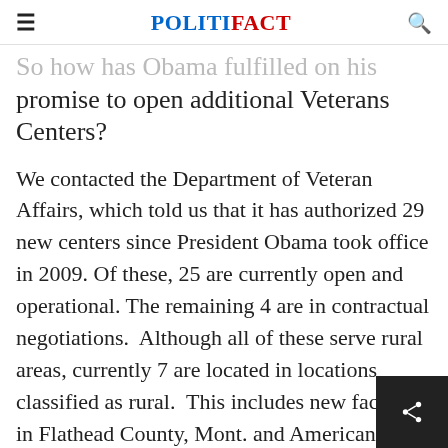POLITIFACT
So how has Obama fulfilled on his promise to open additional Veterans Centers?
We contacted the Department of Veteran Affairs, which told us that it has authorized 29 new centers since President Obama took office in 2009. Of these, 25 are currently open and operational. The remaining 4 are in contractual negotiations. Although all of these serve rural areas, currently 7 are located in locations classified as rural. This includes new facilities in Flathead County, Mont. and American Samoa. The opening of these facilities